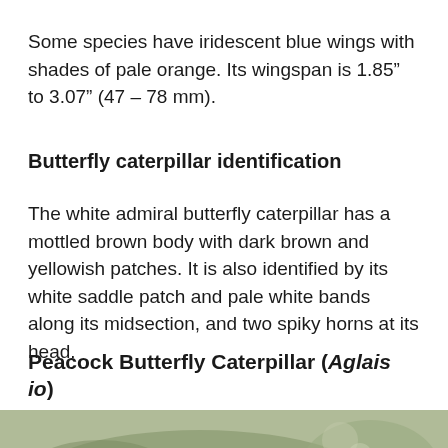Some species have iridescent blue wings with shades of pale orange. Its wingspan is 1.85" to 3.07" (47 – 78 mm).
Butterfly caterpillar identification
The white admiral butterfly caterpillar has a mottled brown body with dark brown and yellowish patches. It is also identified by its white saddle patch and pale white bands along its midsection, and two spiky horns at its head.
Peacock Butterfly Caterpillar (Aglais io)
[Figure (photo): Close-up photo of a caterpillar, partially visible at the bottom of the page, against a muted green-grey background]